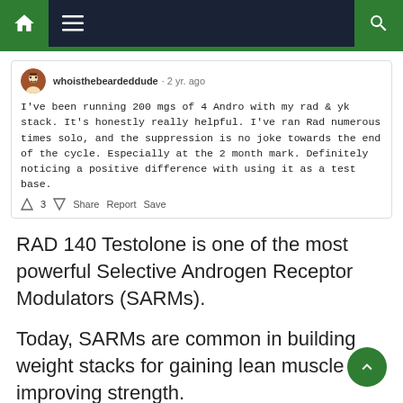Navigation bar with home, menu, and search
whoisthebeardeddude · 2 yr. ago
I've been running 200 mgs of 4 Andro with my rad & yk stack. It's honestly really helpful. I've ran Rad numerous times solo, and the suppression is no joke towards the end of the cycle. Especially at the 2 month mark. Definitely noticing a positive difference with using it as a test base.
↑ 3 ↓  Share  Report  Save
RAD 140 Testolone is one of the most powerful Selective Androgen Receptor Modulators (SARMs).
Today, SARMs are common in building weight stacks for gaining lean muscle and improving strength.
Thus, bodybuilders prefer to stack RAD 140 with 4-Androsterone and other complementary supplements for muscle mass.